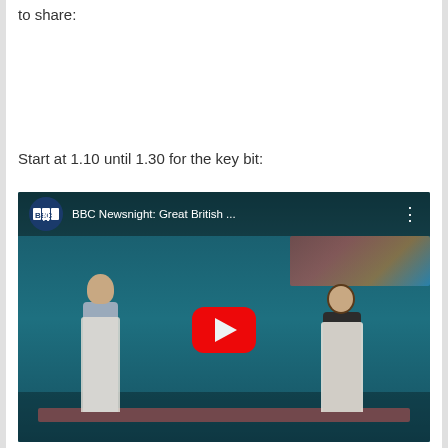to share:
Start at 1.10 until 1.30 for the key bit:
[Figure (screenshot): YouTube video thumbnail showing BBC Newsnight: Great British ... with two people in aprons standing in a TV studio, with a red YouTube play button overlay.]